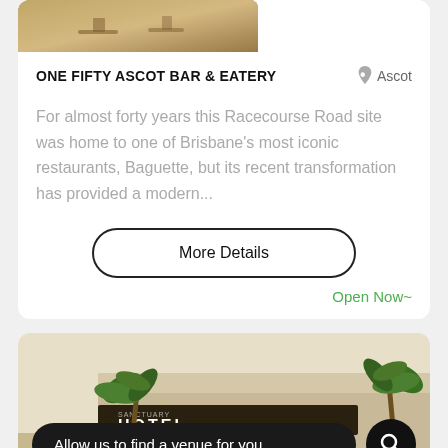[Figure (photo): Top portion of restaurant/bar venue photo showing outdoor seating area]
ONE FIFTY ASCOT BAR & EATERY
Ascot
For almost forty years this Racecourse Road site was home to one of Brisbane's most iconic restaurants, Baguette, but its recent transformation has provided a modern...
More Details
Open Now~
[Figure (photo): Hotel exterior with palm trees — Sanctuary Hotel]
Allow us to find a venue for you